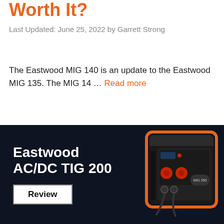Worth It?
Last Updated: June 25, 2022 by Garrett Strong
The Eastwood MIG 140 is an update to the Eastwood MIG 135. The MIG 14 … Read more
[Figure (illustration): Promotional banner for Eastwood AC/DC TIG 200 with dark navy background showing a black welding machine with orange trim and red knobs, with a white Review button]